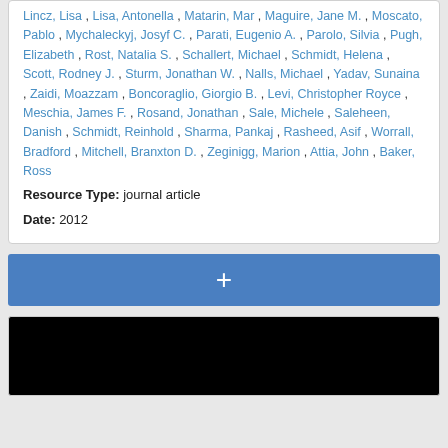Lincz, Lisa , Lisa, Antonella , Matarin, Mar , Maguire, Jane M. , Moscato, Pablo , Mychaleckyj, Josyf C. , Parati, Eugenio A. , Parolo, Silvia , Pugh, Elizabeth , Rost, Natalia S. , Schallert, Michael , Schmidt, Helena , Scott, Rodney J. , Sturm, Jonathan W. , Nalls, Michael , Yadav, Sunaina , Zaidi, Moazzam , Boncoraglio, Giorgio B. , Levi, Christopher Royce , Meschia, James F. , Rosand, Jonathan , Sale, Michele , Saleheen, Danish , Schmidt, Reinhold , Sharma, Pankaj , Rasheed, Asif , Worrall, Bradford , Mitchell, Branxton D. , Zeginigg, Marion , Attia, John , Baker, Ross
Resource Type: journal article
Date: 2012
[Figure (other): Blue plus button bar]
[Figure (other): Black image/video area]